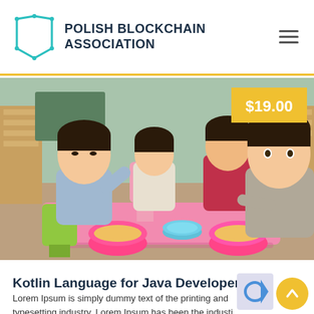POLISH BLOCKCHAIN ASSOCIATION
[Figure (photo): Children sitting at a pink table in a classroom eating food from colorful bowls. A price badge reading $19.00 is overlaid in the top-right corner of the photo.]
Kotlin Language for Java Developers
Lorem Ipsum is simply dummy text of the printing and typesetting industry. Lorem Ipsum has been the industi